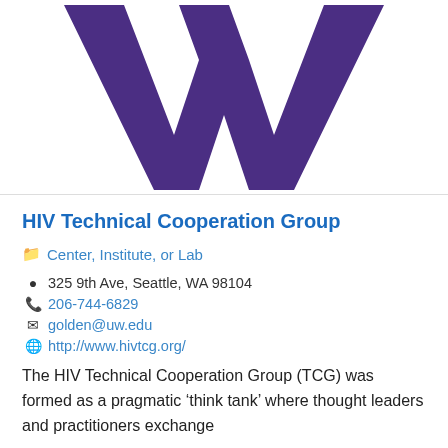[Figure (logo): University of Washington purple block W logo]
HIV Technical Cooperation Group
Center, Institute, or Lab
325 9th Ave, Seattle, WA 98104
206-744-6829
golden@uw.edu
http://www.hivtcg.org/
The HIV Technical Cooperation Group (TCG) was formed as a pragmatic ‘think tank’ where thought leaders and practitioners exchange